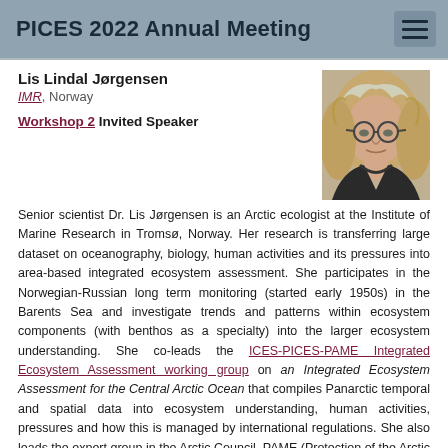PICES 2022 Annual Meeting
Lis Lindal Jørgensen
IMR, Norway
[Figure (photo): Headshot photo of Lis Lindal Jørgensen, a woman with glasses and long gray/blonde wavy hair.]
Workshop 2 Invited Speaker
Senior scientist Dr. Lis Jørgensen is an Arctic ecologist at the Institute of Marine Research in Tromsø, Norway. Her research is transferring large dataset on oceanography, biology, human activities and its pressures into area-based integrated ecosystem assessment. She participates in the Norwegian-Russian long term monitoring (started early 1950s) in the Barents Sea and investigate trends and patterns within ecosystem components (with benthos as a specialty) into the larger ecosystem understanding. She co-leads the ICES-PICES-PAME Integrated Ecosystem Assessment working group on an Integrated Ecosystem Assessment for the Central Arctic Ocean that compiles Panarctic temporal and spatial data into ecosystem understanding, human activities, pressures and how this is managed by international regulations. She also leads the expert group in the Arctic Council, PAME (Protection of the Arctic Marine Ecosystem) on the Ecosystem based management. This group